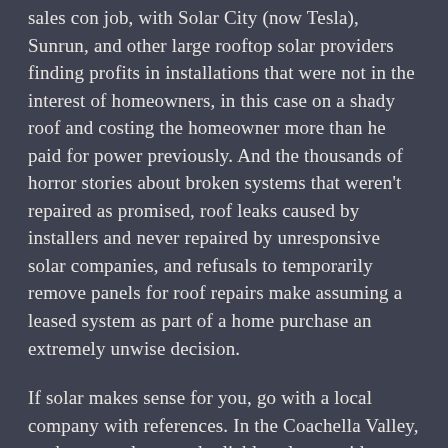sales con job, with Solar City (now Tesla), Sunrun, and other large rooftop solar providers finding profits in installations that were not in the interest of homeowners, in this case on a shady roof and costing the homeowner more than he paid for power previously. And the thousands of horror stories about broken systems that weren't repaired as promised, roof leaks caused by installers and never repaired by unresponsive solar companies, and refusals to temporarily remove panels for roof repairs make assuming a leased system as part of a home purchase an extremely unwise decision.
If solar makes sense for you, go with a local company with references. In the Coachella Valley, we have two large and reliable solar providers, Renova and Hot Purple Energy, plus several smaller companies that have good reputations. If you can't afford to pay cash, look into financing with a separate loan or home...